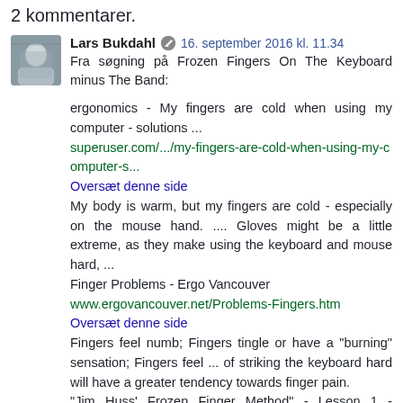2 kommentarer.
Lars Bukdahl  16. september 2016 kl. 11.34
Fra søgning på Frozen Fingers On The Keyboard minus The Band:

ergonomics - My fingers are cold when using my computer - solutions ...
superuser.com/.../my-fingers-are-cold-when-using-my-computer-s...
Oversæt denne side
My body is warm, but my fingers are cold - especially on the mouse hand. .... Gloves might be a little extreme, as they make using the keyboard and mouse hard, ...
Finger Problems - Ergo Vancouver
www.ergovancouver.net/Problems-Fingers.htm
Oversæt denne side
Fingers feel numb; Fingers tingle or have a "burning" sensation; Fingers feel ... of striking the keyboard hard will have a greater tendency towards finger pain.
"Jim Huss' Frozen Finger Method" - Lesson 1 - YouTube
Video til Frozen Fingers At The Keyboard